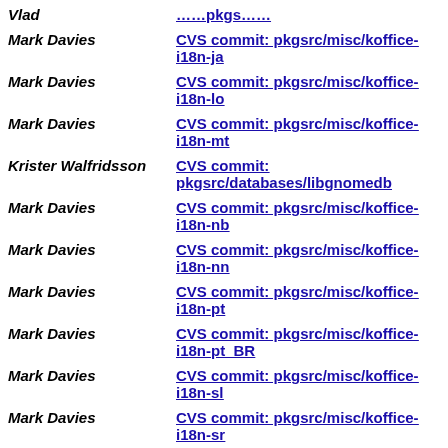Vlad | CVS commit: pkgsrc/... (truncated)
Mark Davies | CVS commit: pkgsrc/misc/koffice-i18n-ja
Mark Davies | CVS commit: pkgsrc/misc/koffice-i18n-lo
Mark Davies | CVS commit: pkgsrc/misc/koffice-i18n-mt
Krister Walfridsson | CVS commit: pkgsrc/databases/libgnomedb
Mark Davies | CVS commit: pkgsrc/misc/koffice-i18n-nb
Mark Davies | CVS commit: pkgsrc/misc/koffice-i18n-nn
Mark Davies | CVS commit: pkgsrc/misc/koffice-i18n-pt
Mark Davies | CVS commit: pkgsrc/misc/koffice-i18n-pt_BR
Mark Davies | CVS commit: pkgsrc/misc/koffice-i18n-sl
Mark Davies | CVS commit: pkgsrc/misc/koffice-i18n-sr
Mark Davies | CVS commit: pkgsrc/misc/koffice-i18n-tg